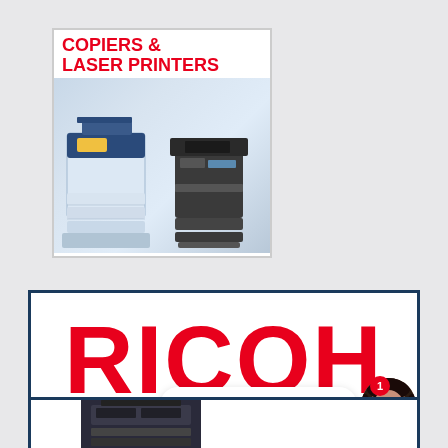[Figure (photo): Advertisement box showing 'COPIERS & LASER PRINTERS' text in red with photos of a large blue/white multifunction copier and a smaller black laser printer on white background]
[Figure (logo): RICOH brand logo in large bold red letters inside a dark blue bordered rectangular banner on white background]
[Figure (screenshot): Chat widget showing notification badge with '1', speech bubble saying 'How can we help you?' and a female avatar portrait photo]
[Figure (photo): Bottom portion showing a dark multifunction printer/copier inside a dark blue bordered panel]